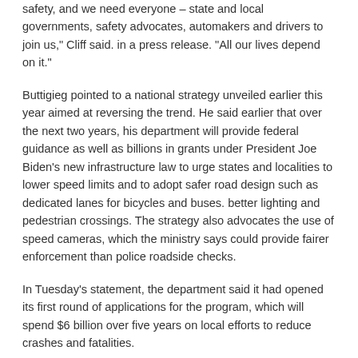safety, and we need everyone – state and local governments, safety advocates, automakers and drivers to join us," Cliff said. in a press release. "All our lives depend on it."
Buttigieg pointed to a national strategy unveiled earlier this year aimed at reversing the trend. He said earlier that over the next two years, his department will provide federal guidance as well as billions in grants under President Joe Biden's new infrastructure law to urge states and localities to lower speed limits and to adopt safer road design such as dedicated lanes for bicycles and buses. better lighting and pedestrian crossings. The strategy also advocates the use of speed cameras, which the ministry says could provide fairer enforcement than police roadside checks.
In Tuesday's statement, the department said it had opened its first round of applications for the program, which will spend $6 billion over five years on local efforts to reduce crashes and fatalities.